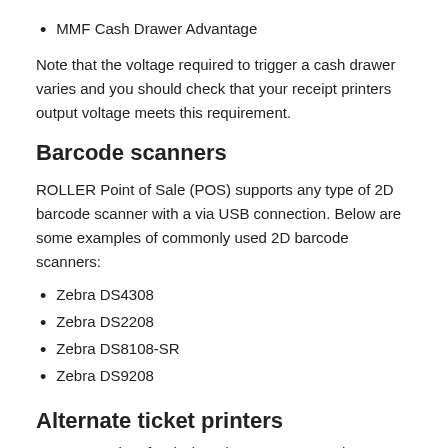MMF Cash Drawer Advantage
Note that the voltage required to trigger a cash drawer varies and you should check that your receipt printers output voltage meets this requirement.
Barcode scanners
ROLLER Point of Sale (POS) supports any type of 2D barcode scanner with a via USB connection. Below are some examples of commonly used 2D barcode scanners:
Zebra DS4308
Zebra DS2208
Zebra DS8108-SR
Zebra DS9208
Alternate ticket printers
ROLLER Point of Sale (POS) supports several wristband,